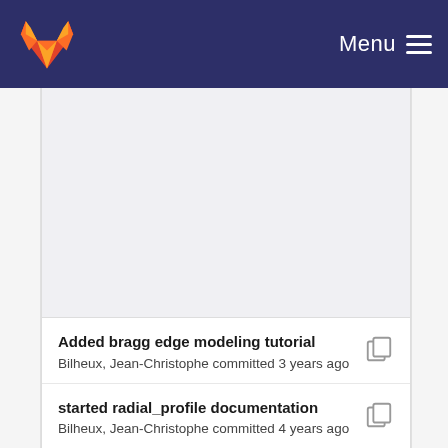Menu
[Figure (other): Blank content area / whitespace in main repository view]
Added bragg edge modeling tutorial
Bilheux, Jean-Christophe committed 3 years ago
started radial_profile documentation
Bilheux, Jean-Christophe committed 4 years ago